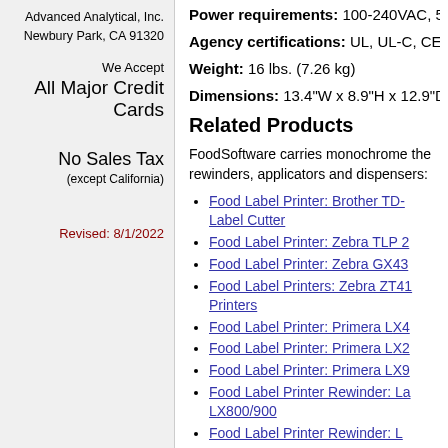Advanced Analytical, Inc.
Newbury Park, CA 91320
We Accept
All Major Credit Cards
No Sales Tax
(except California)
Revised: 8/1/2022
Power requirements: 100-240VAC, 5
Agency certifications: UL, UL-C, CE
Weight: 16 lbs. (7.26 kg)
Dimensions: 13.4"W x 8.9"H x 12.9"D
Related Products
FoodSoftware carries monochrome the rewinders, applicators and dispensers:
Food Label Printer: Brother TD- Label Cutter
Food Label Printer: Zebra TLP 2
Food Label Printer: Zebra GX43
Food Label Printers: Zebra ZT41 Printers
Food Label Printer: Primera LX4
Food Label Printer: Primera LX2
Food Label Printer: Primera LX9
Food Label Printer Rewinder: La LX800/900
Food Label Printer Rewinder: L